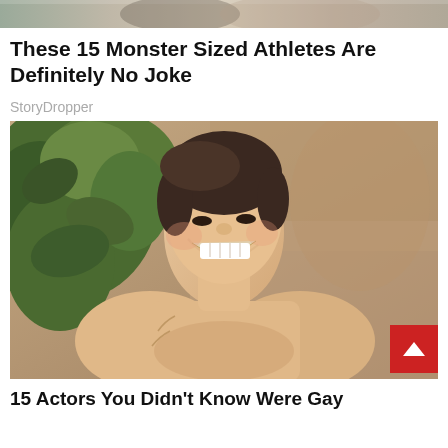[Figure (photo): Top strip showing partial image of people, cropped at top of page]
These 15 Monster Sized Athletes Are Definitely No Joke
StoryDropper
[Figure (photo): Shirtless smiling middle-aged man with dark hair, outdoors near tropical plants and stone wall, with a red back-to-top button in bottom right corner]
15 Actors You Didn't Know Were Gay